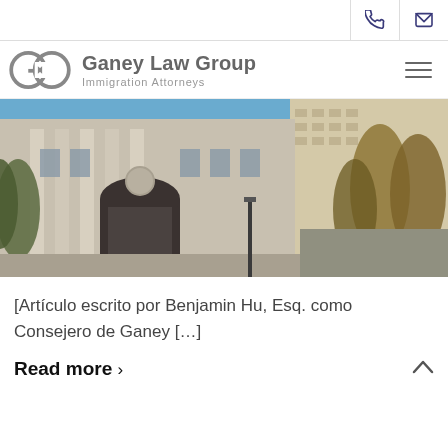Ganey Law Group — Immigration Attorneys
[Figure (photo): Exterior photograph of a classical stone courthouse building with columns and arched doorway, trees in the foreground, blue sky in background, street visible on the right.]
[Artículo escrito por Benjamin Hu, Esq. como Consejero de Ganey […]
Read more ›